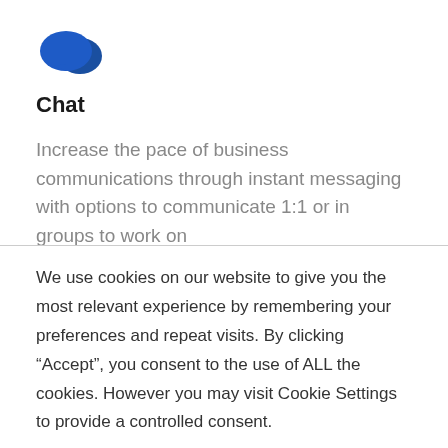[Figure (illustration): Blue chat/speech bubble icon with two overlapping speech bubbles]
Chat
Increase the pace of business communications through instant messaging with options to communicate 1:1 or in groups to work on
We use cookies on our website to give you the most relevant experience by remembering your preferences and repeat visits. By clicking “Accept”, you consent to the use of ALL the cookies. However you may visit Cookie Settings to provide a controlled consent.
Cookie settings | ACCEPT